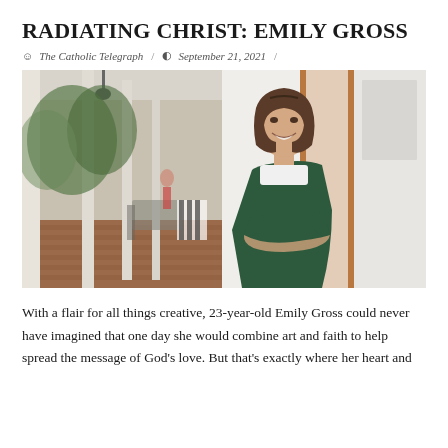RADIATING CHRIST: EMILY GROSS
The Catholic Telegraph / September 21, 2021 /
[Figure (photo): Young woman with short brown hair smiling, wearing a white t-shirt under a dark green slip dress, standing in front of a covered porch/hallway with columns, brick floor, and green trees in the background.]
With a flair for all things creative, 23-year-old Emily Gross could never have imagined that one day she would combine art and faith to help spread the message of God's love. But that's exactly where her heart and